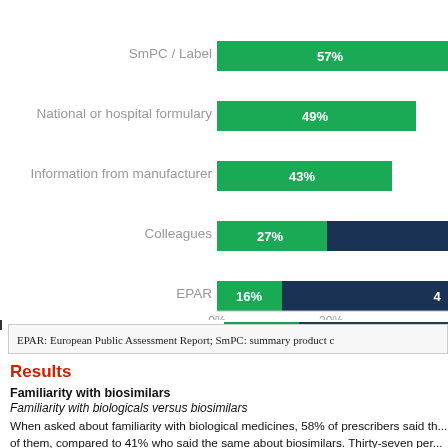[Figure (bar-chart): Sources of information on biosimilars (partial view)]
EPAR: European Public Assessment Report; SmPC: summary product c...
Results
Familiarity with biosimilars
Familiarity with biologicals versus biosimilars
When asked about familiarity with biological medicines, 58% of prescribers said th... of them, compared to 41% who said the same about biosimilars. Thirty-seven per... understanding of biologicals, compared to 49% who said the same about biosimil...